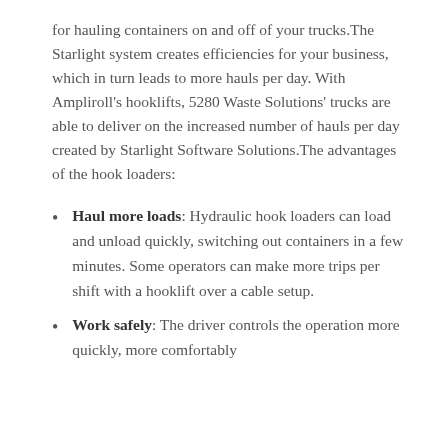for hauling containers on and off of your trucks.The Starlight system creates efficiencies for your business, which in turn leads to more hauls per day. With Ampliroll's hooklifts, 5280 Waste Solutions' trucks are able to deliver on the increased number of hauls per day created by Starlight Software Solutions.The advantages of the hook loaders:
Haul more loads: Hydraulic hook loaders can load and unload quickly, switching out containers in a few minutes. Some operators can make more trips per shift with a hooklift over a cable setup.
Work safely: The driver controls the operation more quickly, more comfortably